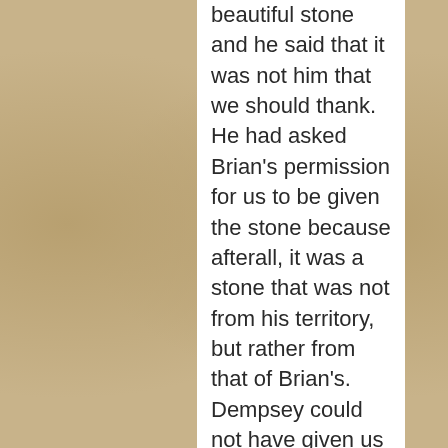beautiful stone and he said that it was not him that we should thank.  He had asked Brian's permission for us to be given the stone because afterall, it was a stone that was not from his territory, but rather from that of Brian's.  Dempsey could not have given us the stone without either putting another one in its place or without permission from a community member of that First Nations territory.  It was then we really began to further understand this notion of reciprocity and